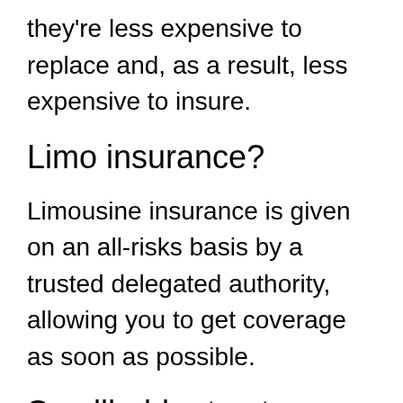they're less expensive to replace and, as a result, less expensive to insure.
Limo insurance?
Limousine insurance is given on an all-risks basis by a trusted delegated authority, allowing you to get coverage as soon as possible.
Smallholder tractor